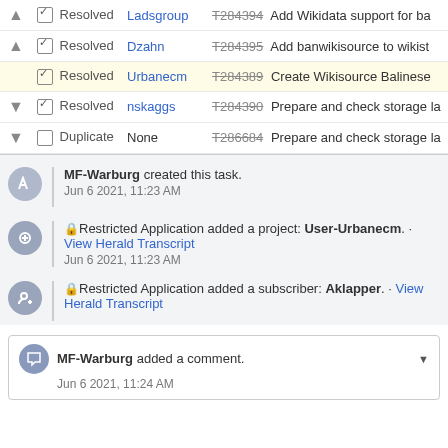|  | Status | User | Task |
| --- | --- | --- | --- |
| ▲ | ☑ Resolved | Ladsgroup | T284394 Add Wikidata support for ba |
| ▲ | ☑ Resolved | Dzahn | T284395 Add banwikisource to wikist |
|  | ☑ Resolved | Urbanecm | T284389 Create Wikisource Balinese |
| ▼ | ☑ Resolved | nskaggs | T284390 Prepare and check storage la |
| ▼ | ☐ Duplicate | None | T286684 Prepare and check storage la |
MF-Warburg created this task.
Jun 6 2021, 11:23 AM
🔒Restricted Application added a project: User-Urbanecm. · View Herald Transcript
Jun 6 2021, 11:23 AM
🔒Restricted Application added a subscriber: Aklapper. · View Herald Transcript
MF-Warburg added a comment.
Jun 6 2021, 11:24 AM